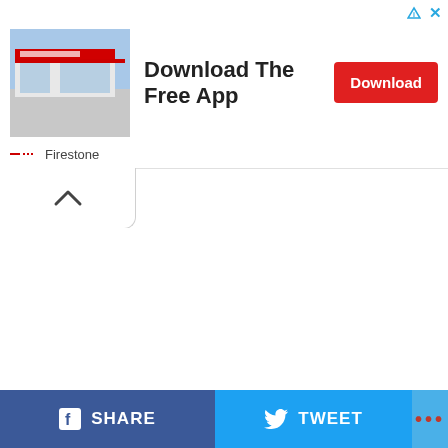[Figure (screenshot): Advertisement banner for Firestone showing a store exterior photo on the left, bold text 'Download The Free App' in the center, and a red 'Download' button on the right. Ad attribution icons (triangle, X) in top right. Firestone brand label with dashes below.]
[Figure (screenshot): UI collapse/chevron button (upward caret) in a white rounded panel below the ad banner]
[Figure (screenshot): Footer bar with three sections: dark blue Facebook SHARE button on left, light blue Twitter TWEET button in center, lighter blue area with red dots on right]